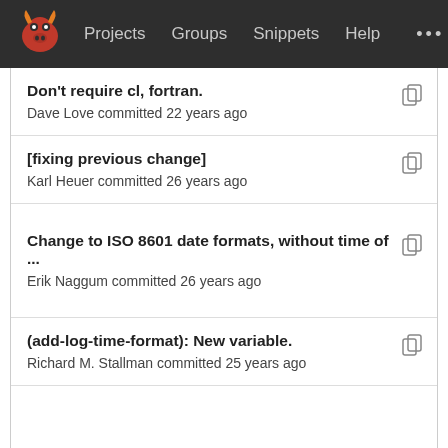Projects  Groups  Snippets  Help
Don't require cl, fortran.
Dave Love committed 22 years ago
[fixing previous change]
Karl Heuer committed 26 years ago
Change to ISO 8601 date formats, without time of ...
Erik Naggum committed 26 years ago
(add-log-time-format): New variable.
Richard M. Stallman committed 25 years ago
Change to ISO 8601 date formats, without time of ...